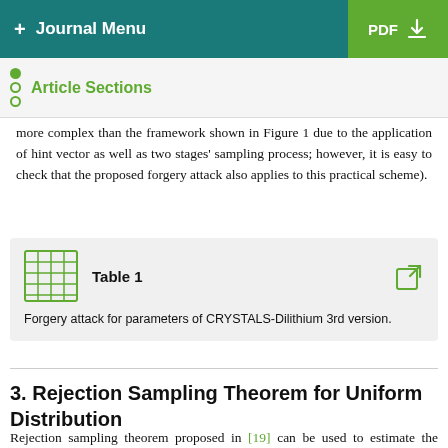+ Journal Menu | PDF ↓
Article Sections
more complex than the framework shown in Figure 1 due to the application of hint vector as well as two stages' sampling process; however, it is easy to check that the proposed forgery attack also applies to this practical scheme).
Table 1 — Forgery attack for parameters of CRYSTALS-Dilithium 3rd version.
3. Rejection Sampling Theorem for Uniform Distribution
Rejection sampling theorem proposed in [19] can be used to estimate the security of the rejection sampling process against